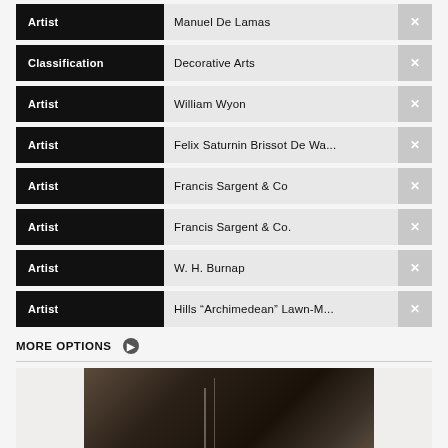Artist | Manuel De Lamas
Classification | Decorative Arts
Artist | William Wyon
Artist | Felix Saturnin Brissot De Wa...
Artist | Francis Sargent & Co
Artist | Francis Sargent & Co.
Artist | W. H. Burnap
Artist | Hills "Archimedean" Lawn-M...
MORE OPTIONS ▶
[Figure (photo): Photograph of a dark mechanical or industrial object, appears to be part of a lawn mower or similar device, shown in dark brown and black tones.]